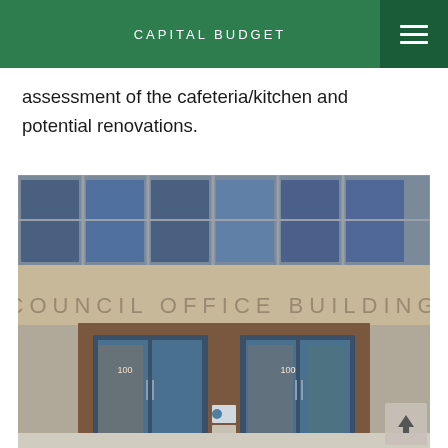CAPITAL BUDGET
assessment of the cafeteria/kitchen and potential renovations.
[Figure (photo): Photograph of the exterior facade of the Council Office Building, showing the engraved text 'COUNCIL OFFICE BUILDING' above double glass entry doors numbered 100, with large windows above and autumn trees reflected in them.]